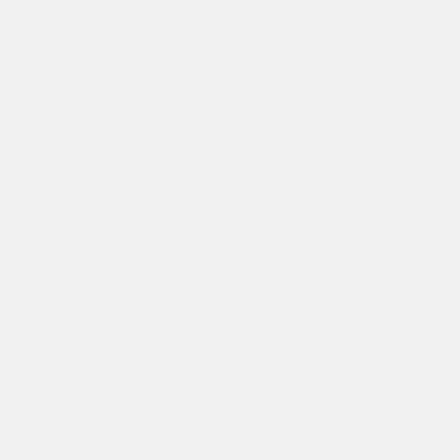mi
fro
he
fut
hu
Ja
ab
40
mi
in
the
op
dir
Bo
of
kin
an
pro